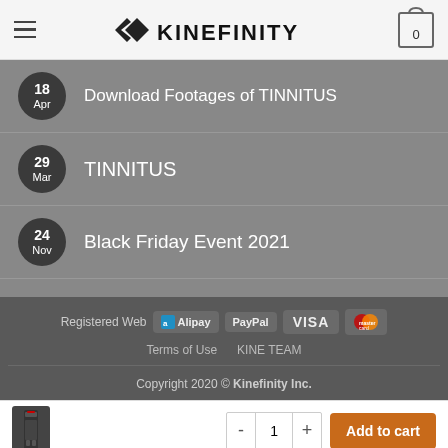Kinefinity — navigation header with logo and cart
18 Apr — Download Footages of TINNITUS
29 Mar — TINNITUS
24 Nov — Black Friday Event 2021
Registered Web  Alipay  PayPal  VISA  Mastercard  |  Terms of Use  KINE TEAM  |  Copyright 2020 © Kinefinity Inc.